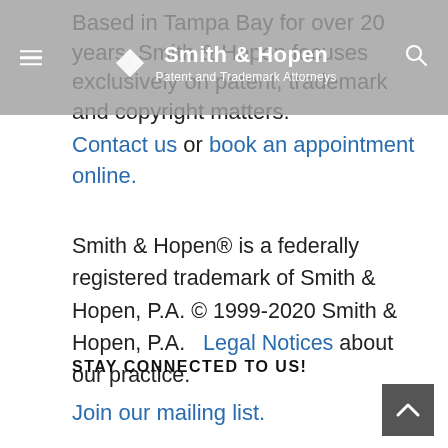Smith & Hopen — Patent and Trademark Attorneys (navigation bar)
Based in Tampa Bay for over 20 years, Smith & Hopen focuses exclusively on patent, trademark and copyright matters.
Contact us or book an appointment online.
Smith & Hopen® is a federally registered trademark of Smith & Hopen, P.A. © 1999-2020 Smith & Hopen, P.A.   Legal Notices about our practice.
STAY CONNECTED TO US!
Join our mailing list.